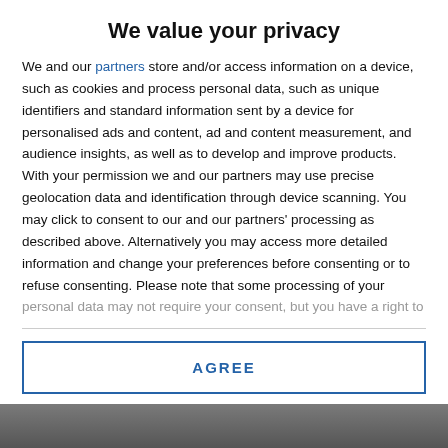We value your privacy
We and our partners store and/or access information on a device, such as cookies and process personal data, such as unique identifiers and standard information sent by a device for personalised ads and content, ad and content measurement, and audience insights, as well as to develop and improve products. With your permission we and our partners may use precise geolocation data and identification through device scanning. You may click to consent to our and our partners' processing as described above. Alternatively you may access more detailed information and change your preferences before consenting or to refuse consenting. Please note that some processing of your personal data may not require your consent, but you have a right to
AGREE
MORE OPTIONS
[Figure (photo): Bottom strip showing a partial photo, mostly obscured]